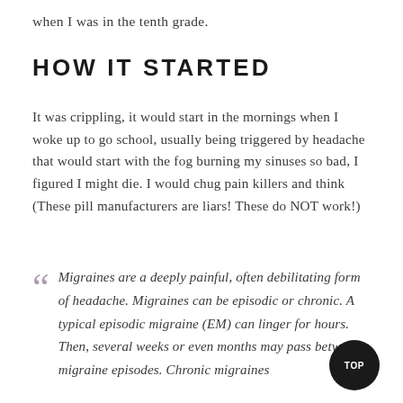when I was in the tenth grade.
HOW IT STARTED
It was crippling, it would start in the mornings when I woke up to go school, usually being triggered by headache that would start with the fog burning my sinuses so bad, I figured I might die. I would chug pain killers and think (These pill manufacturers are liars! These do NOT work!)
Migraines are a deeply painful, often debilitating form of headache. Migraines can be episodic or chronic. A typical episodic migraine (EM) can linger for hours. Then, several weeks or even months may pass between migraine episodes. Chronic migraines